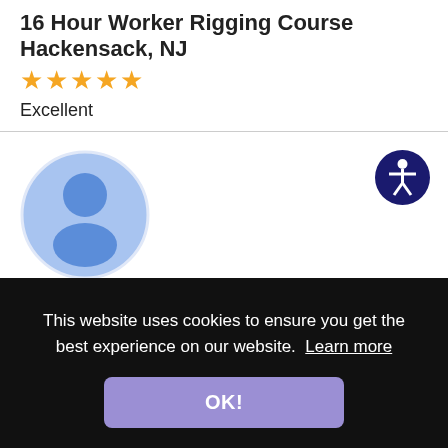16 Hour Worker Rigging Course Hackensack, NJ
[Figure (other): Five gold star rating icons]
Excellent
[Figure (photo): Generic user avatar icon — light blue circle with darker blue person silhouette]
[Figure (other): Accessibility icon button — dark navy blue circle with white wheelchair accessibility symbol]
Date: 2020-05-29
Marc
This website uses cookies to ensure you get the best experience on our website.  Learn more
OK!